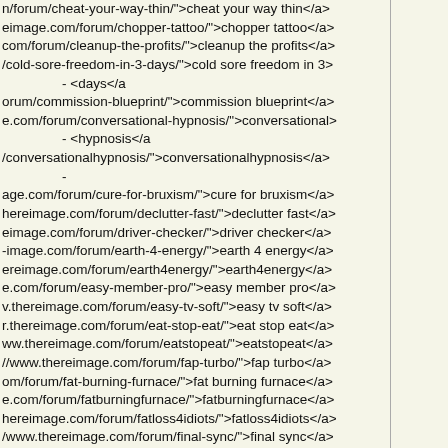n/forum/cheat-your-way-thin/">cheat your way thin</a>
eimage.com/forum/chopper-tattoo/">chopper tattoo</a>
com/forum/cleanup-the-profits/">cleanup the profits</a>
/cold-sore-freedom-in-3-days/">cold sore freedom in 3>
                - <days</a
orum/commission-blueprint/">commission blueprint</a>
e.com/forum/conversational-hypnosis/">conversational>
                - <hypnosis</a
/conversationalhypnosis/">conversationalhypnosis</a>
                -
age.com/forum/cure-for-bruxism/">cure for bruxism</a>
hereimage.com/forum/declutter-fast/">declutter fast</a>
eimage.com/forum/driver-checker/">driver checker</a>
-image.com/forum/earth-4-energy/">earth 4 energy</a>
ereimage.com/forum/earth4energy/">earth4energy</a>
e.com/forum/easy-member-pro/">easy member pro</a>
v.thereimage.com/forum/easy-tv-soft/">easy tv soft</a>
r.thereimage.com/forum/eat-stop-eat/">eat stop eat</a>
ww.thereimage.com/forum/eatstopeat/">eatstopeat</a>
//www.thereimage.com/forum/fap-turbo/">fap turbo</a>
om/forum/fat-burning-furnace/">fat burning furnace</a>
e.com/forum/fatburningfurnace/">fatburningfurnace</a>
hereimage.com/forum/fatloss4idiots/">fatloss4idiots</a>
/www.thereimage.com/forum/final-sync/">final sync</a>
image.com/forum/final-uninstaller/">final uninstaller</a>
um/fitness-model-program/">fitness model program</a>
e.com/forum/fit-yummy-yummy/">fit yummy yummy</a>
nage.com/forum/flatten-your-abs/">flatten your abs</a>
-reimage.com/forum/forex-ambush/">forex ambush</a>
/forum/government-registry/">government registry</a>